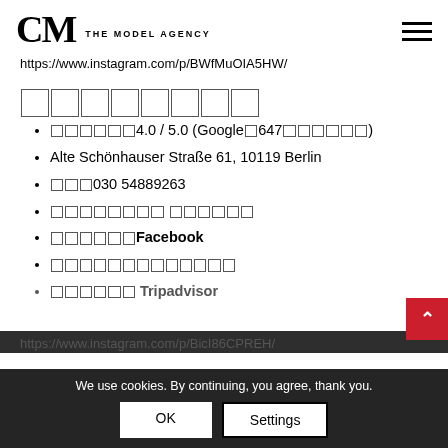CM THE MODEL AGENCY
https://www.instagram.com/p/BWfMuOIA5HW/
■■■■■■■■ (unrendered glyphs)
■■■■■■4.0 / 5.0 (Google■647■■■■■■)
Alte Schönhauser Straße 61, 10119 Berlin
■■■030 54889263
■■■■■■■■ ■■■■■■
■■■■■■Facebook
■■■■■■■■■■■■■
■■■■■■ Tripadvisor
https://www.instagram.com/p/BicI86CPREH/
We use cookies. By continuing, you agree, thank you.
OK  Settings